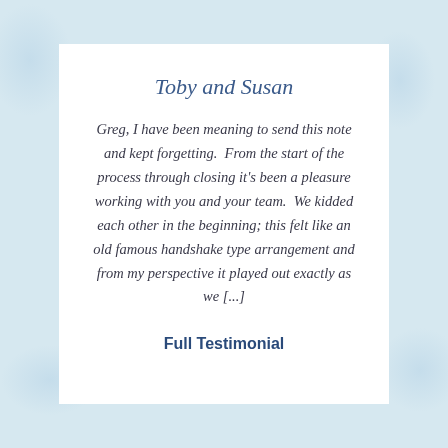Toby and Susan
Greg, I have been meaning to send this note and kept forgetting.  From the start of the process through closing it's been a pleasure working with you and your team.  We kidded each other in the beginning; this felt like an old famous handshake type arrangement and from my perspective it played out exactly as we [...]
Full Testimonial